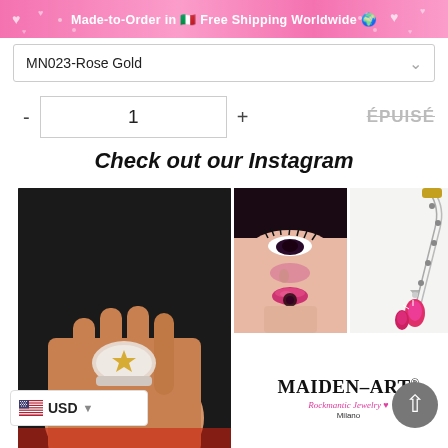Made-to-Order in 🇮🇹 Free Shipping Worldwide 🌍
MN023-Rose Gold
- 1 + ÉPUISÉ
Check out our Instagram
[Figure (photo): Instagram grid showing: a crystal ring on a hand, a woman with pink makeup, a pink gemstone necklace, and the MAIDEN-ART® Rockmantic Jewelry Milano logo]
🇺🇸 USD ▾